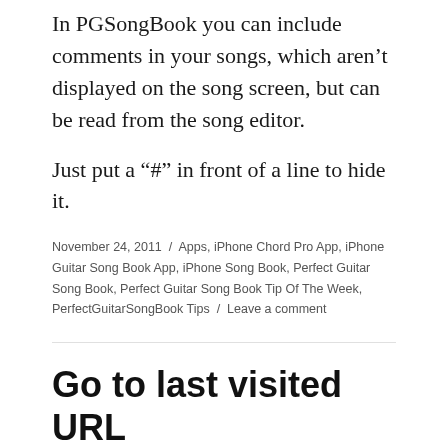In PGSongBook you can include comments in your songs, which aren't displayed on the song screen, but can be read from the song editor.
Just put a "#" in front of a line to hide it.
November 24, 2011 / Apps, iPhone Chord Pro App, iPhone Guitar Song Book App, iPhone Song Book, Perfect Guitar Song Book, Perfect Guitar Song Book Tip Of The Week, PerfectGuitarSongBook Tips / Leave a comment
Go to last visited URL
If you close and reopen PGSongBook's web browser a new web search gets started. What if you want to go back to the web site you visited